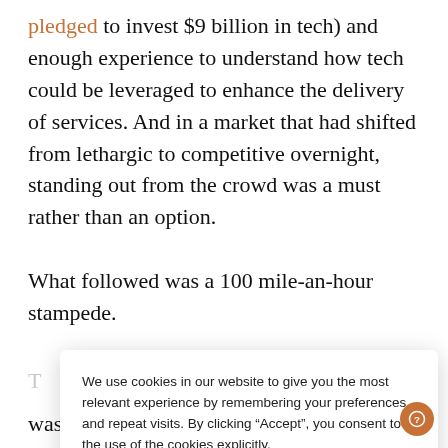pledged to invest $9 billion in tech) and enough experience to understand how tech could be leveraged to enhance the delivery of services. And in a market that had shifted from lethargic to competitive overnight, standing out from the crowd was a must rather than an option.

What followed was a 100 mile-an-hour stampede.
[Figure (screenshot): Cookie consent modal popup with text: 'We use cookies in our website to give you the most relevant experience by remembering your preferences and repeat visits. By clicking "Accept", you consent to the use of the cookies explicitly. Read More' and two buttons: 'Cookie Settings' and 'Accept' (green button).]
was welcomed with open arms.